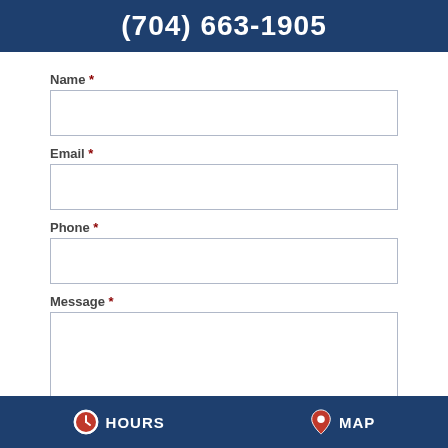(704) 663-1905
Name *
Email *
Phone *
Message *
HOURS   MAP